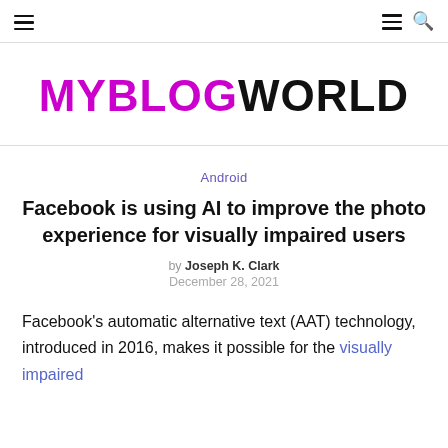MYBLOGWORLD — navigation bar with hamburger menu and search icon
MYBLOGWORLD
Android
Facebook is using AI to improve the photo experience for visually impaired users
by Joseph K. Clark
December 28, 2021
Facebook's automatic alternative text (AAT) technology, introduced in 2016, makes it possible for the visually impaired